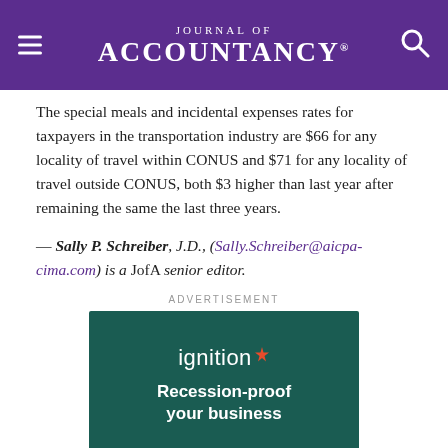Journal of Accountancy
The special meals and incidental expenses rates for taxpayers in the transportation industry are $66 for any locality of travel within CONUS and $71 for any locality of travel outside CONUS, both $3 higher than last year after remaining the same the last three years.
— Sally P. Schreiber, J.D., (Sally.Schreiber@aicpa-cima.com) is a JofA senior editor.
[Figure (other): Advertisement for Ignition: 'Recession-proof your business' on dark teal background with Ignition logo and orange star.]